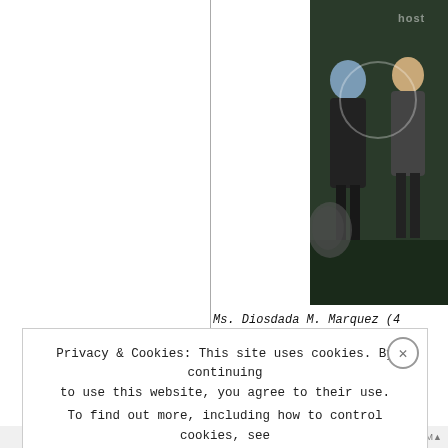[Figure (photo): Photo of Ms. Diosdada M. Marquez and others at an awards ceremony, with a watermark reading 'host']
Ms. Diosdada M. Marquez (4... Specialist II OAPMG for... Office drew the loudest... awardees. Her effort in... corporate accounts resul... pesos in...
Privacy & Cookies: This site uses cookies. By continuing to use this website, you agree to their use. To find out more, including how to control cookies, see here: Cookie Policy